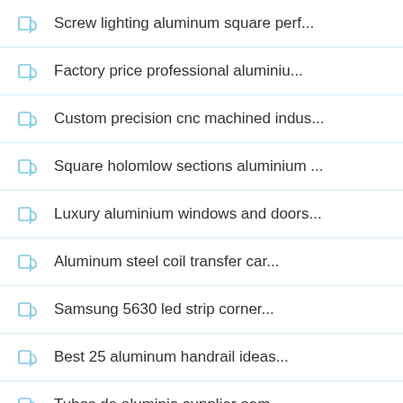Screw lighting aluminum square perf...
Factory price professional aluminiu...
Custom precision cnc machined indus...
Square holomlow sections aluminium ...
Luxury aluminium windows and doors...
Aluminum steel coil transfer car...
Samsung 5630 led strip corner...
Best 25 aluminum handrail ideas...
Tubos de aluminio supplier oem...
Reinforced aluminum foil tape or...
6mm 04mm pvdf coated acm...
Aluminum t sheet with 3d...